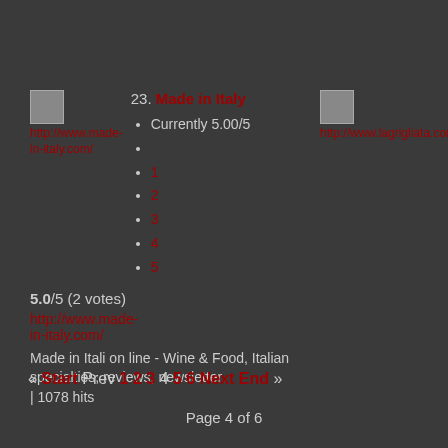23. Made in Italy
[Figure (photo): Broken image placeholder for http://www.made-in-italy.com/]
http://www.made-in-italy.com/
Currently 5.00/5
1
2
3
4
5
5.0/5 (2 votes)
http://www.made-in-italy.com/
Made in Itali on line - Wine & Food, Italian specialties, reviews, newsletter.
| 1078 hits
[Figure (photo): Broken image placeholder for http://www.lagrigliata.com]
24.
Gri...
http://...
Rist
Grig
Car
pre
| 13
« Start  Prev  1  2  3  4  5  6  Next  End »
Page 4 of 6